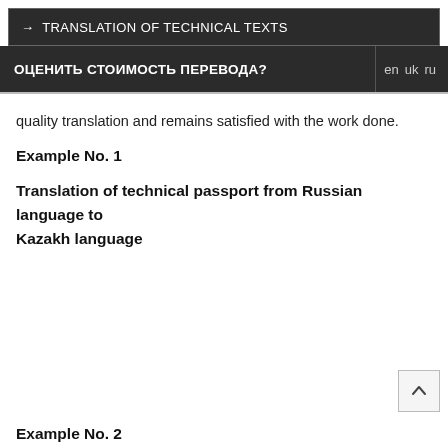→ TRANSLATION OF TECHNICAL TEXTS
ОЦЕНИТЬ СТОИМОСТЬ ПЕРЕВОДА?  en  uk  ru
quality translation and remains satisfied with the work done.
Example No. 1
Translation of technical passport from Russian language to Kazakh language
Example No. 2